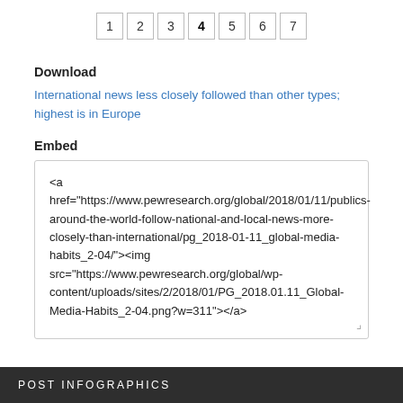1 2 3 4 5 6 7
Download
International news less closely followed than other types; highest is in Europe
Embed
<a href="https://www.pewresearch.org/global/2018/01/11/publics-around-the-world-follow-national-and-local-news-more-closely-than-international/pg_2018-01-11_global-media-habits_2-04/"><img src="https://www.pewresearch.org/global/wp-content/uploads/sites/2/2018/01/PG_2018.01.11_Global-Media-Habits_2-04.png?w=311"></a>
POST INFOGRAPHICS